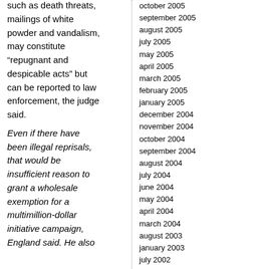such as death threats, mailings of white powder and vandalism, may constitute “repugnant and despicable acts” but can be reported to law enforcement, the judge said.
Even if there have been illegal reprisals, that would be insufficient reason to grant a wholesale exemption for a multimillion-dollar initiative campaign, England said. He also
october 2005
september 2005
august 2005
july 2005
may 2005
april 2005
march 2005
february 2005
january 2005
december 2004
november 2004
october 2004
september 2004
august 2004
july 2004
june 2004
may 2004
april 2004
march 2004
august 2003
january 2003
july 2002
june 2002
april 2002
february 2002
january 2002
december 2001
meta:
log in
rss
comments rss
valid xhtml